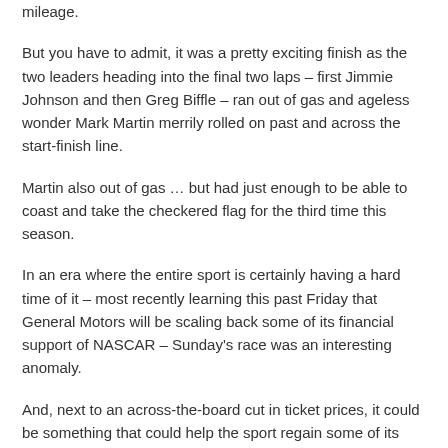mileage.
But you have to admit, it was a pretty exciting finish as the two leaders heading into the final two laps – first Jimmie Johnson and then Greg Biffle – ran out of gas and ageless wonder Mark Martin merrily rolled on past and across the start-finish line.
Martin also out of gas … but had just enough to be able to coast and take the checkered flag for the third time this season.
In an era where the entire sport is certainly having a hard time of it – most recently learning this past Friday that General Motors will be scaling back some of its financial support of NASCAR – Sunday's race was an interesting anomaly.
And, next to an across-the-board cut in ticket prices, it could be something that could help the sport regain some of its lost at-track attendance and TV ratings.